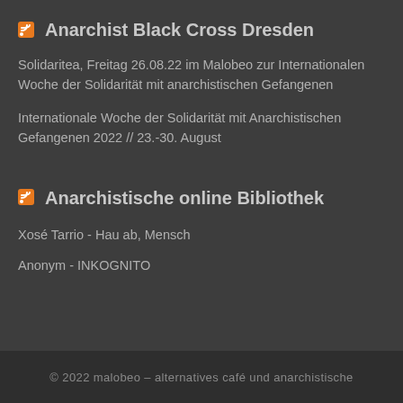Anarchist Black Cross Dresden
Solidaritea, Freitag 26.08.22 im Malobeo zur Internationalen Woche der Solidarität mit anarchistischen Gefangenen
Internationale Woche der Solidarität mit Anarchistischen Gefangenen 2022 // 23.-30. August
Anarchistische online Bibliothek
Xosé Tarrio - Hau ab, Mensch
Anonym - INKOGNITO
© 2022 malobeo – alternatives café und anarchistische